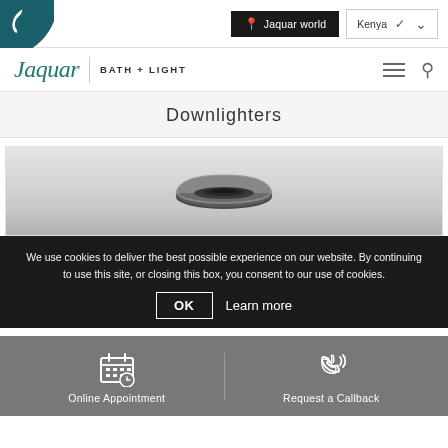Jaquar BATH + LIGHT | Jaquar world | Kenya
Downlighters
[Figure (photo): Black and white photo of a downlighter product on a grey background]
We use cookies to deliver the best possible experience on our website. By continuing to use this site, or closing this box, you consent to our use of cookies.
OK   Learn more
Online Appointment   Request a Callback